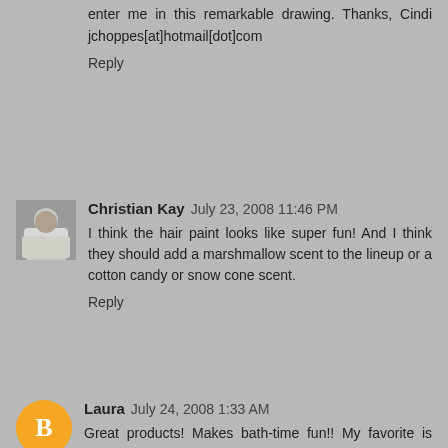enter me in this remarkable drawing. Thanks, Cindi jchoppes[at]hotmail[dot]com
Reply
Christian Kay  July 23, 2008 11:46 PM
I think the hair paint looks like super fun! And I think they should add a marshmallow scent to the lineup or a cotton candy or snow cone scent.
Reply
Laura  July 24, 2008 1:33 AM
Great products! Makes bath-time fun!! My favorite is Niklas & Heidi's Yodel-Ay-He Shampoo, for the name but the flavor is chocolate!! Yum. I usually also like citrus flavors, so maybe an orange shampoo. laurachilton {at} hotmail {dot} com
Reply